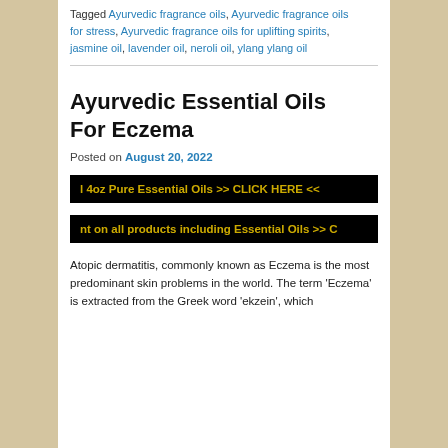Tagged Ayurvedic fragrance oils, Ayurvedic fragrance oils for stress, Ayurvedic fragrance oils for uplifting spirits, jasmine oil, lavender oil, neroli oil, ylang ylang oil
[Figure (other): Black banner with yellow text: l 4oz Pure Essential Oils >> CLICK HERE <<]
[Figure (other): Black banner with yellow text: nt on all products including Essential Oils >> C]
Ayurvedic Essential Oils For Eczema
Posted on August 20, 2022
Atopic dermatitis, commonly known as Eczema is the most predominant skin problems in the world. The term 'Eczema' is extracted from the Greek word 'ekzein', which